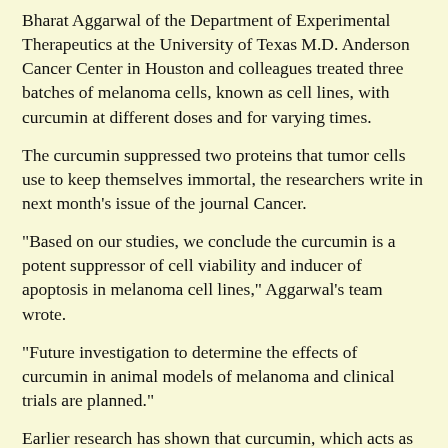Bharat Aggarwal of the Department of Experimental Therapeutics at the University of Texas M.D. Anderson Cancer Center in Houston and colleagues treated three batches of melanoma cells, known as cell lines, with curcumin at different doses and for varying times.
The curcumin suppressed two proteins that tumor cells use to keep themselves immortal, the researchers write in next month's issue of the journal Cancer.
"Based on our studies, we conclude the curcumin is a potent suppressor of cell viability and inducer of apoptosis in melanoma cell lines," Aggarwal's team wrote.
"Future investigation to determine the effects of curcumin in animal models of melanoma and clinical trials are planned."
Earlier research has shown that curcumin, which acts as an antioxidant, can help prevent tumors from forming in the laboratory.
Aggarwal said people who eat plenty of turmeric have lower rates of some cancers, although the spice itself has not been shown to reduce cancer risk in people.